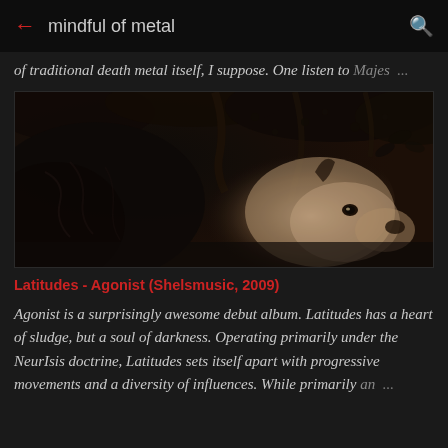mindful of metal
of traditional death metal itself, I suppose. One listen to Majes ...
[Figure (photo): Dark monochromatic photograph of an animal (appears to be a wolf or dog) looking upward among dark foliage, high contrast black and sepia tones]
Latitudes - Agonist (Shelsmusic, 2009)
Agonist is a surprisingly awesome debut album. Latitudes has a heart of sludge, but a soul of darkness. Operating primarily under the NeurIsis doctrine, Latitudes sets itself apart with progressive movements and a diversity of influences. While primarily an ...